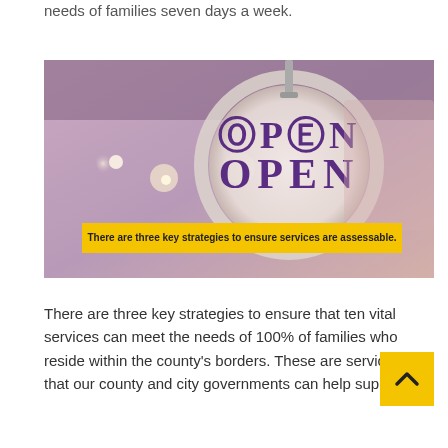needs of families seven days a week.
[Figure (photo): Photo of a circular 'OPEN' sign hanging in a store window. The sign has decorative purple text spelling 'OPEN' on a light background. A yellow banner overlaid on the lower portion of the image reads: 'There are three key strategies to ensure services are assessable.']
There are three key strategies to ensure that ten vital services can meet the needs of 100% of families who reside within the county's borders. These are services that our county and city governments can help support.